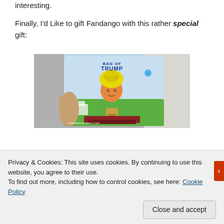interesting.
Finally, I'd Like to gift Fandango with this rather special gift:
[Figure (photo): A hand holding a novelty candy bag labeled 'Bag of Trump Hair – Pure American Sweet Stuff' featuring a cartoon caricature of Donald Trump with yellow hair, the White House, and text at the bottom.]
Privacy & Cookies: This site uses cookies. By continuing to use this website, you agree to their use.
To find out more, including how to control cookies, see here: Cookie Policy
Close and accept